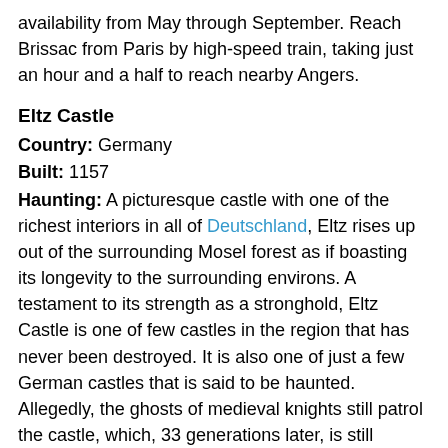availability from May through September. Reach Brissac from Paris by high-speed train, taking just an hour and a half to reach nearby Angers.
Eltz Castle
Country: Germany
Built: 1157
Haunting: A picturesque castle with one of the richest interiors in all of Deutschland, Eltz rises up out of the surrounding Mosel forest as if boasting its longevity to the surrounding environs. A testament to its strength as a stronghold, Eltz Castle is one of few castles in the region that has never been destroyed. It is also one of just a few German castles that is said to be haunted. Allegedly, the ghosts of medieval knights still patrol the castle, which, 33 generations later, is still owned by the same original family. Imagine living in the same house as your Great X 30 grandmother.
Visiting: Reach Eltz Castle by flying into Frankfurt Hahn airport, and traveling by bus or taxi for the final 15 miles to the...